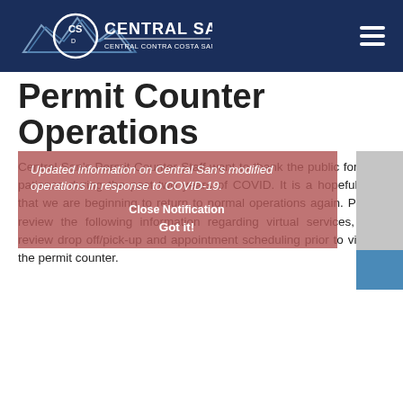Central San — Central Contra Costa Sanitary District
Permit Counter Operations
Central San's Permit Counter Staff want to thank the public for their patience during the past two years of COVID. It is a hopeful sign that we are beginning to return to normal operations again. Please review the following information regarding virtual services, plan review drop off/pick-up and appointment scheduling prior to visiting the permit counter.
[Figure (screenshot): COVID notification overlay with text: 'Updated Information on Central San's modified operations in response to COVID-19...' and buttons: 'Close Notification' and 'Got it!']
Virtual Services
The following will continue to be served virtually by visiting our Permit Counter: